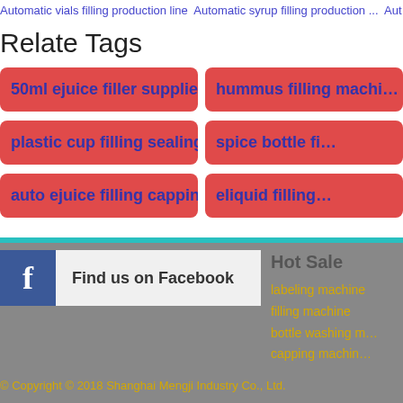Automatic vials filling production line  Automatic syrup filling production ...  Aut
Relate Tags
50ml ejuice filler supplier
hummus filling machi...
plastic cup filling sealing machine
spice bottle fi...
auto ejuice filling capping machine
eliquid filling...
[Figure (other): Facebook Find us on Facebook social media button]
© Copyright © 2018 Shanghai Mengji Industry Co., Ltd.
Hot Sale
labeling machine
filling machine
bottle washing m...
capping machin...